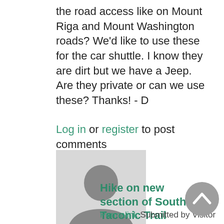the road access like on Mount Riga and Mount Washington roads? We'd like to use these for the car shuttle. I know they are dirt but we have a Jeep. Are they private or can we use these? Thanks! - D
Log in or register to post comments
[Figure (photo): Generic user avatar silhouette icon on light gray background]
Hike on new section of South Taconic Trail
Permalink Submitted by Visitor (not verified) on Wed,